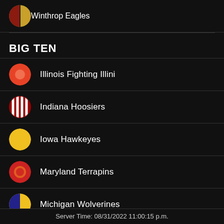Winthrop Eagles
BIG TEN
Illinois Fighting Illini
Indiana Hoosiers
Iowa Hawkeyes
Maryland Terrapins
Michigan Wolverines
Michigan State Spartans
Minnesota Golden Gophers (partial)
Server Time: 08/31/2022 11:00:15 p.m.